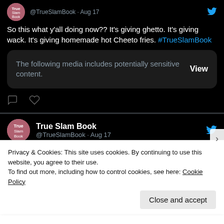@TrueSlamBook · Aug 17
So this what y'all doing now?? It's giving ghetto. It's giving wack. It's giving homemade hot Cheeto fries. #TrueSlamBook
The following media includes potentially sensitive content. View
True Slam Book @TrueSlamBook · Aug 17
You've gotta be kidding us! #TrueSlamBook
Privacy & Cookies: This site uses cookies. By continuing to use this website, you agree to their use.
To find out more, including how to control cookies, see here: Cookie Policy
Close and accept